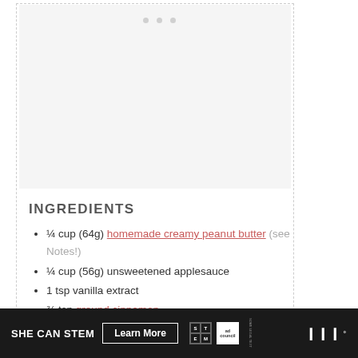[Figure (photo): Image placeholder area with light gray background and three small dots at top, contained within a dashed border box]
INGREDIENTS
¼ cup (64g) homemade creamy peanut butter (see Notes!)
¼ cup (56g) unsweetened applesauce
1 tsp vanilla extract
¾ tsp ground cinnamon
⅛ tsp salt
[Figure (infographic): SHE CAN STEM advertisement banner with Learn More button, STEM logo, Ad Council logo, and media company logo on dark background]